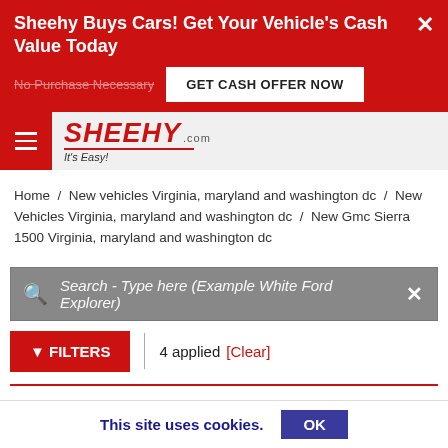Sheehy Buys Cars! Get Your Vehicle's Cash Value Today
No Purchase Necessary
GET CASH OFFER NOW
[Figure (logo): Sheehy.com It's Easy! logo with red text and swoosh]
Home / New vehicles Virginia, maryland and washington dc / New Vehicles Virginia, maryland and washington dc / New Gmc Sierra 1500 Virginia, maryland and washington dc
Search - Type here (Example White Ford Explorer)
FILTERS 4 applied [Clear]
This site uses cookies. OK